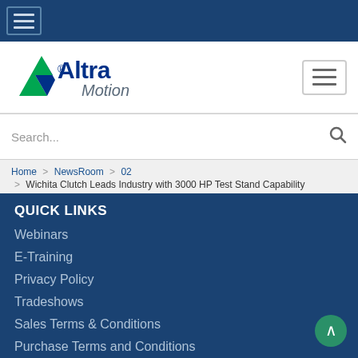[Figure (screenshot): Top dark blue navigation bar with hamburger menu icon in a bordered box]
[Figure (logo): Altra Motion logo with green arrow icon and dark blue text, alongside hamburger menu icon on right]
Search...
Home > NewsRoom > 02 > Wichita Clutch Leads Industry with 3000 HP Test Stand Capability
QUICK LINKS
Webinars
E-Training
Privacy Policy
Tradeshows
Sales Terms & Conditions
Purchase Terms and Conditions